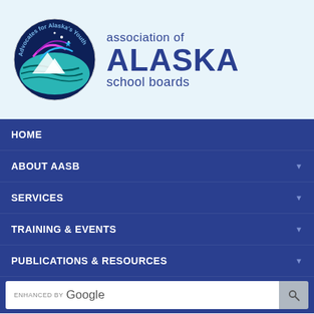[Figure (logo): Association of Alaska School Boards logo: circular emblem with aurora/whale imagery and text 'Advocates for Alaska's Youth' around the border, beside large text 'association of ALASKA school boards']
HOME
ABOUT AASB
SERVICES
TRAINING & EVENTS
PUBLICATIONS & RESOURCES
ENHANCED BY Google
TAG: COVID-19